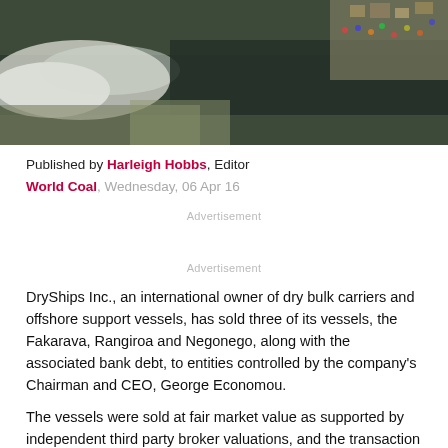[Figure (photo): Aerial photograph of a waterway or river with white water/rapids on the left side and industrial or port facilities visible on the right side, with vehicles and structures along the waterfront.]
Published by Harleigh Hobbs, Editor
World Coal, Wednesday, 06 Apr 16
Advertisement
Advertisement
DryShips Inc., an international owner of dry bulk carriers and offshore support vessels, has sold three of its vessels, the Fakarava, Rangiroa and Negonego, along with the associated bank debt, to entities controlled by the company's Chairman and CEO, George Economou.
The vessels were sold at fair market value as supported by independent third party broker valuations, and the transaction was approved by the disinterested members of the company's Board of